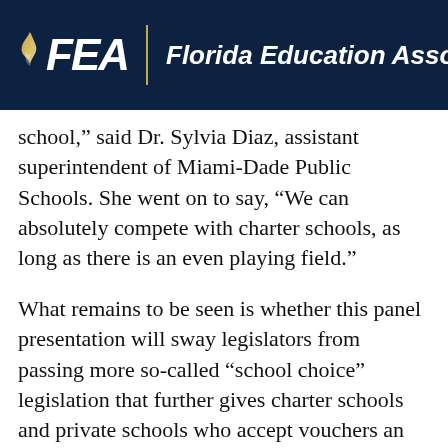FEA | Florida Education Association
school,” said Dr. Sylvia Diaz, assistant superintendent of Miami-Dade Public Schools. She went on to say, “We can absolutely compete with charter schools, as long as there is an even playing field.”
What remains to be seen is whether this panel presentation will sway legislators from passing more so-called “school choice” legislation that further gives charter schools and private schools who accept vouchers an advantage, while